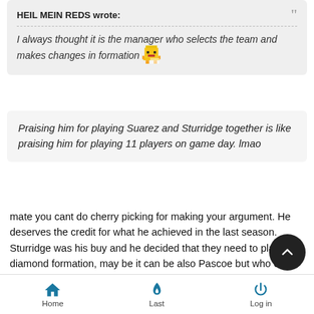HEIL MEIN REDS wrote:
I always thought it is the manager who selects the team and makes changes in formation
Praising him for playing Suarez and Sturridge together is like praising him for playing 11 players on game day. lmao
mate you cant do cherry picking for making your argument. He deserves the credit for what he achieved in the last season. Sturridge was his buy and he decided that they need to play in a diamond formation, may be it can be also Pascoe but who cares because it is his staff. I know you are mad that after doing everything right in the last season (position in the table wise), seems like we are back to square one but yesterday Stephan
Home  Last  Log in